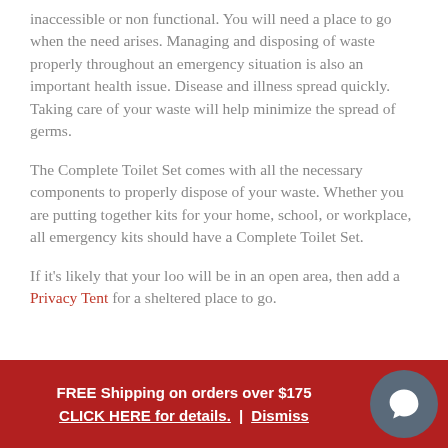inaccessible or non functional. You will need a place to go when the need arises. Managing and disposing of waste properly throughout an emergency situation is also an important health issue. Disease and illness spread quickly. Taking care of your waste will help minimize the spread of germs.
The Complete Toilet Set comes with all the necessary components to properly dispose of your waste. Whether you are putting together kits for your home, school, or workplace, all emergency kits should have a Complete Toilet Set.
If it's likely that your loo will be in an open area, then add a Privacy Tent for a sheltered place to go.
FREE Shipping on orders over $175 CLICK HERE for details. | Dismiss